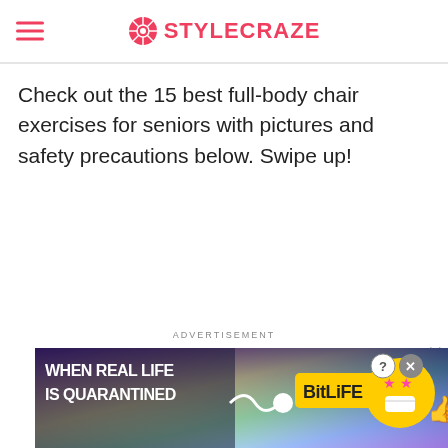STYLECRAZE
Check out the 15 best full-body chair exercises for seniors with pictures and safety precautions below. Swipe up!
ADVERTISEMENT
[Figure (illustration): BitLife mobile game advertisement banner with rainbow background, cartoon emoji character with star eyes and face mask, text 'WHEN REAL LIFE IS QUARANTINED' and BitLife logo]